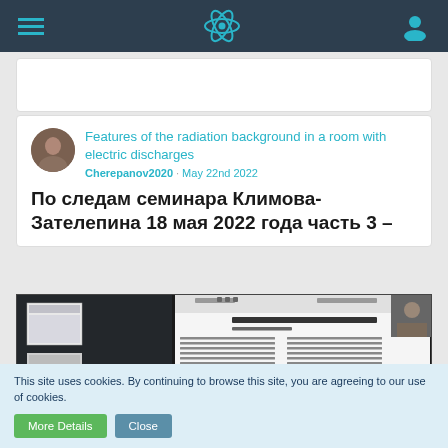Navigation bar with hamburger menu, atom logo, and user icon
Features of the radiation background in a room with electric discharges
Cherepanov2020 · May 22nd 2022
По следам семинара Климова-Зателепина 18 мая 2022 года часть 3 –
[Figure (screenshot): Screenshot of a document viewer showing a Russian-language scientific article with text columns and a graph]
This site uses cookies. By continuing to browse this site, you are agreeing to our use of cookies.